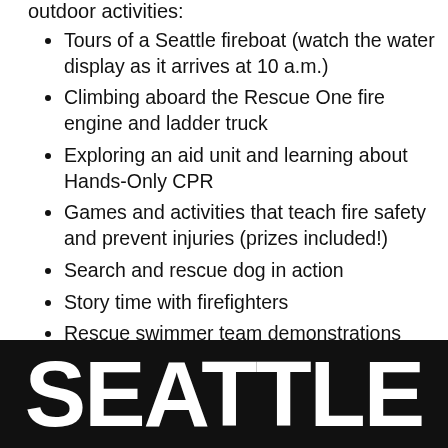outdoor activities:
Tours of a Seattle fireboat (watch the water display as it arrives at 10 a.m.)
Climbing aboard the Rescue One fire engine and ladder truck
Exploring an aid unit and learning about Hands-Only CPR
Games and activities that teach fire safety and prevent injuries (prizes included!)
Search and rescue dog in action
Story time with firefighters
Rescue swimmer team demonstrations
SEATTLE